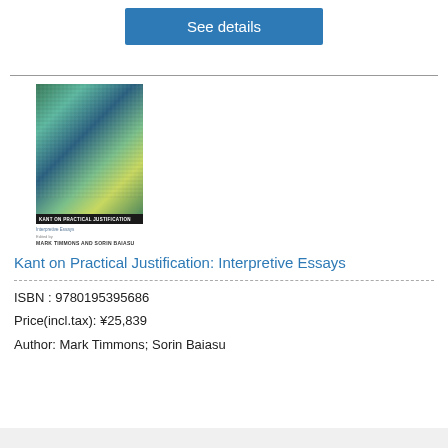See details
[Figure (photo): Book cover of 'Kant on Practical Justification: Interpretive Essays', edited by Mark Timmons and Sorin Baiasu. The cover shows a colorful impressionist-style painting of trees. Below the painting is a black title bar with the book title in white uppercase letters. Below the image is small text with subtitle and editors' names.]
Kant on Practical Justification: Interpretive Essays
ISBN : 9780195395686
Price(incl.tax): ¥25,839
Author: Mark Timmons; Sorin Baiasu